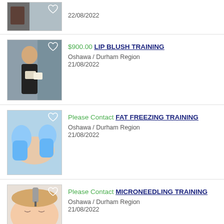22/08/2022
$900.00 LIP BLUSH TRAINING
Oshawa / Durham Region
21/08/2022
Please Contact FAT FREEZING TRAINING
Oshawa / Durham Region
21/08/2022
Please Contact MICRONEEDLING TRAINING
Oshawa / Durham Region
21/08/2022
Please Contact 3 IN 1 BODY CONTOURING TRAINING
Oshawa / Durham Region